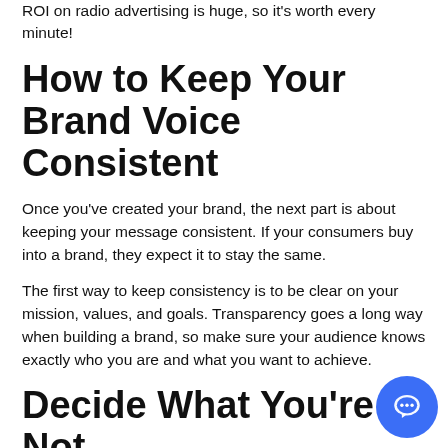If you start feeling frustrated, just bear in mind that the ROI on radio advertising is huge, so it's worth every minute!
How to Keep Your Brand Voice Consistent
Once you've created your brand, the next part is about keeping your message consistent. If your consumers buy into a brand, they expect it to stay the same.
The first way to keep consistency is to be clear on your mission, values, and goals. Transparency goes a long way when building a brand, so make sure your audience knows exactly who you are and what you want to achieve.
Decide What You're Not
As well as being transparent, it's important to determine